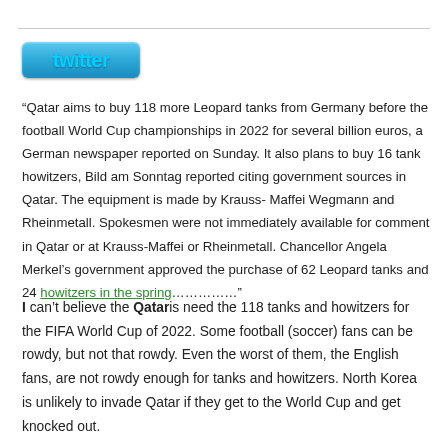[Figure (logo): Twitter logo button with blue gradient background and cyan 'twitter' text]
“Qatar aims to buy 118 more Leopard tanks from Germany before the football World Cup championships in 2022 for several billion euros, a German newspaper reported on Sunday. It also plans to buy 16 tank howitzers, Bild am Sonntag reported citing government sources in Qatar. The equipment is made by Krauss-Maffei Wegmann and Rheinmetall. Spokesmen were not immediately available for comment in Qatar or at Krauss-Maffei or Rheinmetall. Chancellor Angela Merkel’s government approved the purchase of 62 Leopard tanks and 24 howitzers in the spring…”
I can’t believe the Qataris need the 118 tanks and howitzers for the FIFA World Cup of 2022. Some football (soccer) fans can be rowdy, but not that rowdy. Even the worst of them, the English fans, are not rowdy enough for tanks and howitzers. North Korea is unlikely to invade Qatar if they get to the World Cup and get knocked out.